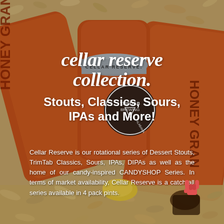[Figure (photo): Background photo showing orange beer cans labeled 'Cellar Reserve' and 'Honey Granola' surrounded by granola oats, with a candy and some honey in the foreground]
cellar reserve collection.
Stouts, Classics, Sours, IPAs and More!
Cellar Reserve is our rotational series of Dessert Stouts, TrimTab Classics, Sours, IPAs, DIPAs as well as the home of our candy-inspired CANDYSHOP Series. In terms of market availability, Cellar Reserve is a catch-all series available in 4 pack pints.
[Figure (logo): TrimTab hand sign logo icon in coral/pink color, bottom right corner]